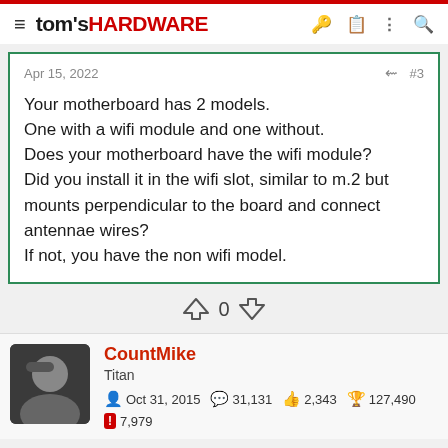tom's HARDWARE
Apr 15, 2022
#3
Your motherboard has 2 models.
One with a wifi module and one without.
Does your motherboard have the wifi module?
Did you install it in the wifi slot, similar to m.2 but mounts perpendicular to the board and connect antennae wires?
If not, you have the non wifi model.
0
CountMike
Titan
Oct 31, 2015  31,131  2,343  127,490
7,979